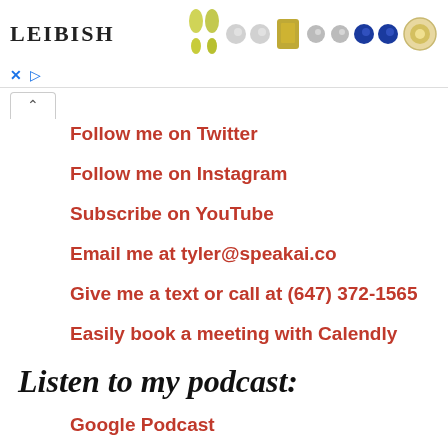[Figure (other): Leibish jewelry advertisement banner showing gemstones and earrings with LEIBISH logo]
Follow me on Twitter
Follow me on Instagram
Subscribe on YouTube
Email me at tyler@speakai.co
Give me a text or call at (647) 372-1565
Easily book a meeting with Calendly
Listen to my podcast:
Google Podcast